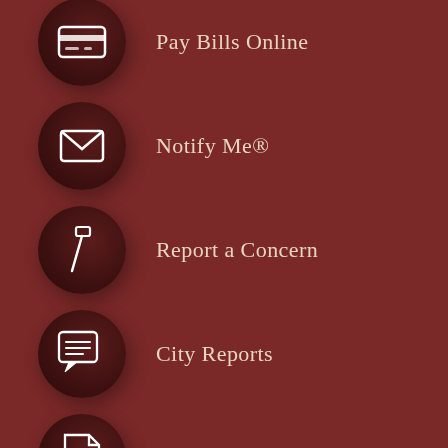Pay Bills Online
Notify Me®
Report a Concern
City Reports
City Forms
Video Tour